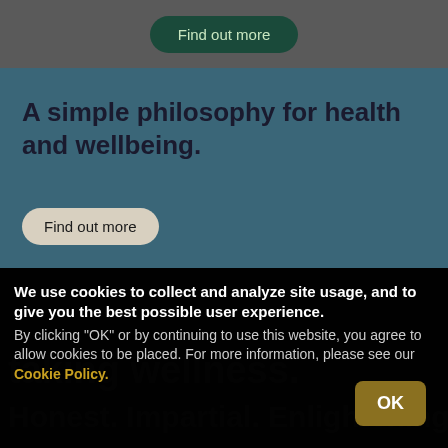[Figure (screenshot): Top navigation bar with dark green 'Find out more' pill button on grey background]
A simple philosophy for health and wellbeing.
[Figure (screenshot): Rounded pill button labeled 'Find out more' on teal background]
We use cookies to collect and analyze site usage, and to give you the best possible user experience. By clicking "OK" or by continuing to use this website, you agree to allow cookies to be placed. For more information, please see our Cookie Policy.
[Figure (screenshot): Background watermark text reading 'taking wellness' and 'Honest. Impartial. Enlightening' partially visible behind cookie banner]
[Figure (screenshot): OK button in dark gold/yellow on bottom right of cookie banner]